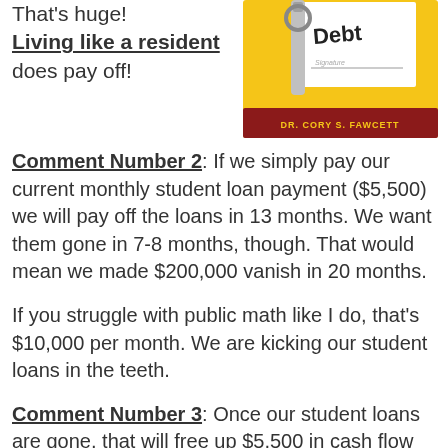That's huge! Living like a resident does pay off!
[Figure (photo): Book cover: 'Debt' written on a notepad with a pencil clip, yellow background, text 'DR. CORY S. FAWCETT' at bottom]
Comment Number 2: If we simply pay our current monthly student loan payment ($5,500) we will pay off the loans in 13 months. We want them gone in 7-8 months, though. That would mean we made $200,000 vanish in 20 months.
If you struggle with public math like I do, that's $10,000 per month. We are kicking our student loans in the teeth.
Comment Number 3: Once our student loans are gone, that will free up $5,500 in cash flow each month...